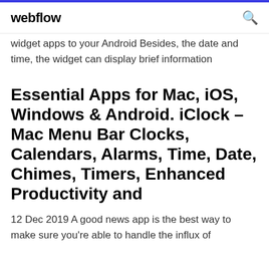webflow
widget apps to your Android Besides, the date and time, the widget can display brief information
Essential Apps for Mac, iOS, Windows & Android. iClock – Mac Menu Bar Clocks, Calendars, Alarms, Time, Date, Chimes, Timers, Enhanced Productivity and
12 Dec 2019 A good news app is the best way to make sure you're able to handle the influx of